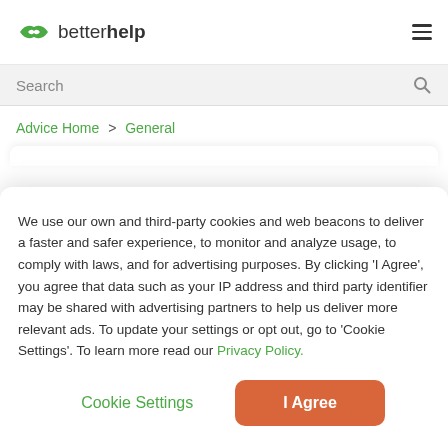betterhelp
Search
Advice Home > General
We use our own and third-party cookies and web beacons to deliver a faster and safer experience, to monitor and analyze usage, to comply with laws, and for advertising purposes. By clicking 'I Agree', you agree that data such as your IP address and third party identifier may be shared with advertising partners to help us deliver more relevant ads. To update your settings or opt out, go to 'Cookie Settings'. To learn more read our Privacy Policy.
Cookie Settings
I Agree